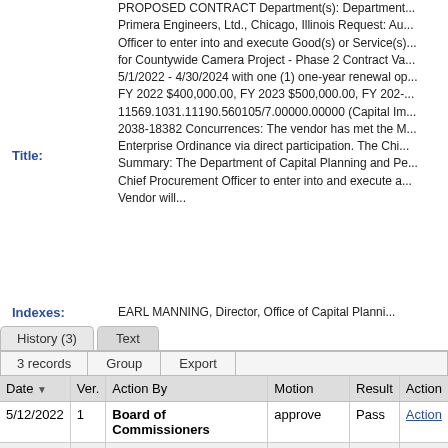PROPOSED CONTRACT Department(s): Department... Primera Engineers, Ltd., Chicago, Illinois Request: Au... Officer to enter into and execute Good(s) or Service(s)... for Countywide Camera Project - Phase 2 Contract Va... 5/1/2022 - 4/30/2024 with one (1) one-year renewal op... FY 2022 $400,000.00, FY 2023 $500,000.00, FY 202-... 11569.1031.11190.560105/7.00000.00000 (Capital Im... 2038-18382 Concurrences: The vendor has met the M... Enterprise Ordinance via direct participation. The Chi... Summary: The Department of Capital Planning and Pe... Chief Procurement Officer to enter into and execute a... Vendor will...
Title:
Indexes:
EARL MANNING, Director, Office of Capital Planni...
| Date | Ver. | Action By | Motion | Result | Action |
| --- | --- | --- | --- | --- | --- |
| 5/12/2022 | 1 | Board of Commissioners | approve | Pass | Action |
| 5/11/2022 | 1 | Asset Management Committee | recommend for approval | Pass | Action |
| 4/7/2022 | 1 | Board of Commissioners | refer | Pass | Action |